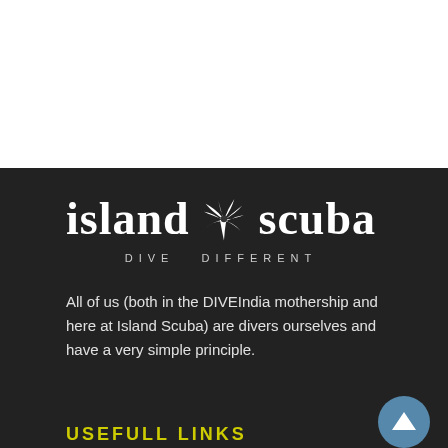[Figure (logo): Island Scuba logo with palm tree icon and tagline DIVE DIFFERENT]
All of us (both in the DIVEIndia mothership and here at Island Scuba) are divers ourselves and have a very simple principle.
USEFULL LINKS